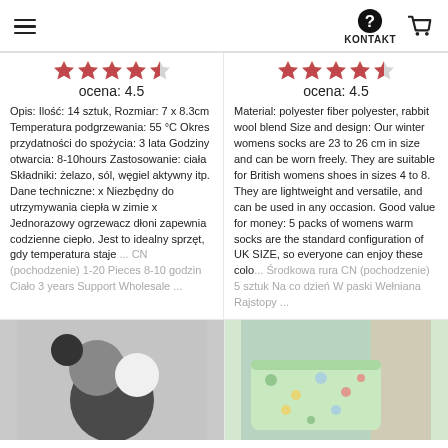KONTAKT
[Figure (other): Star rating: 4.5 out of 5 stars (left column)]
ocena: 4.5
Opis: Ilość: 14 sztuk, Rozmiar: 7 x 8.3cm Temperatura podgrzewania: 55 °C Okres przydatności do spożycia: 3 lata Godziny otwarcia: 8-10hours Zastosowanie: ciała Składniki: żelazo, sól, węgiel aktywny itp. Dane techniczne: x Niezbędny do utrzymywania ciepła w zimie x Jednorazowy ogrzewacz dłoni zapewnia codzienne ciepło. Jest to idealny sprzęt, gdy temperatura staje ... CN (pochodzenie) 1-20 Pieces 8-10 godzin Ciało 3 years Support Wholesale ...
[Figure (other): Star rating: 4.5 out of 5 stars (right column)]
ocena: 4.5
Material: polyester fiber polyester, rabbit wool blend Size and design: Our winter womens socks are 23 to 26 cm in size and can be worn freely. They are suitable for British womens shoes in sizes 4 to 8. They are lightweight and versatile, and can be used in any occasion. Good value for money: 5 packs of womens warm socks are the standard configuration of UK SIZE, so everyone can enjoy these colo... Środkowa rura CN (pochodzenie) 5 sztuk Na co dzień W paski Wełniana Rajstopy ...
[Figure (photo): Product image: circular black, grey, and white discs on light grey background]
[Figure (photo): Product image: folded light green blanket/quilt with colorful pattern on a bed]